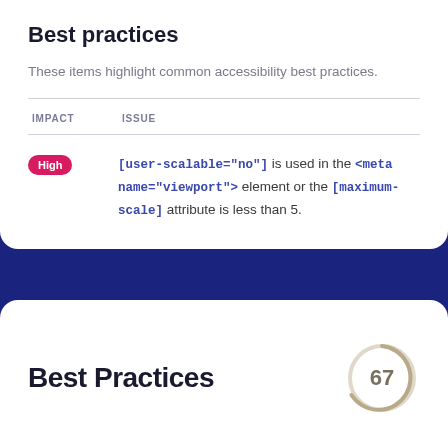Best practices
These items highlight common accessibility best practices.
| IMPACT | ISSUE |
| --- | --- |
| High | [user-scalable="no"] is used in the <meta name="viewport"> element or the [maximum-scale] attribute is less than 5. |
Best Practices
[Figure (other): Circular gauge showing score of 67]